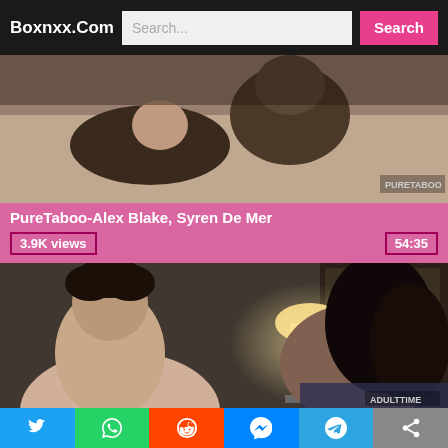Boxnxx.Com
[Figure (screenshot): Thumbnail image for PureTaboo-Alex Blake, Syren De Mer video]
PureTaboo-Alex Blake, Syren De Mer
3.9K views
54:35
[Figure (screenshot): Thumbnail image for PureTaboo-Long Kiss Goodbye, Vanna Bardot video showing two people in a bedroom scene]
PureTaboo-Long Kiss Goodbye, Vanna Bardot
Twitter WhatsApp Reddit Messenger Telegram Share